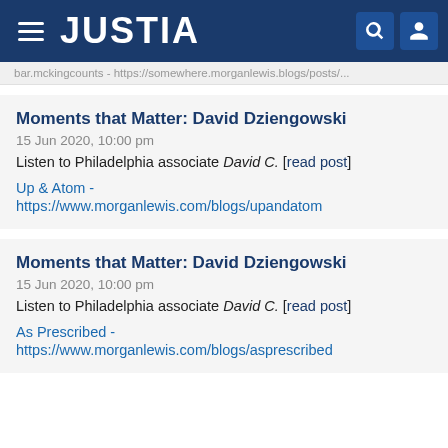JUSTIA
bar.mckingcounts - https://somewhere.morganlewis.blogs/posts/...
Moments that Matter: David Dziengowski
15 Jun 2020, 10:00 pm
Listen to Philadelphia associate David C. [read post]
Up & Atom -
https://www.morganlewis.com/blogs/upandatom
Moments that Matter: David Dziengowski
15 Jun 2020, 10:00 pm
Listen to Philadelphia associate David C. [read post]
As Prescribed -
https://www.morganlewis.com/blogs/asprescribed